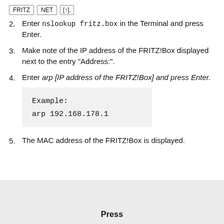[Figure (other): Top navigation buttons partially visible: three buttons labeled roughly 'FRITZ', 'NET', and one more]
2. Enter nslookup fritz.box in the Terminal and press Enter.
3. Make note of the IP address of the FRITZ!Box displayed next to the entry "Address:".
4. Enter arp [IP address of the FRITZ!Box] and press Enter.
Example:
arp 192.168.178.1
5. The MAC address of the FRITZ!Box is displayed.
Press